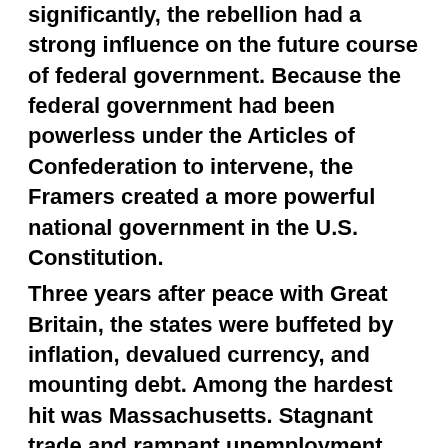significantly, the rebellion had a strong influence on the future course of federal government. Because the federal government had been powerless under the Articles of Confederation to intervene, the Framers created a more powerful national government in the U.S. Constitution. Three years after peace with Great Britain, the states were buffeted by inflation, devalued currency, and mounting debt. Among the hardest hit was Massachusetts. Stagnant trade and rampant unemployment had devastated farmers who, unable to sell their produce, had their property seized by courts in order to pay off debts and overdue taxes. Hundreds of farmers were dispossessed; dozens of them were jailed. The conditions for revolt were ripe, stoked by rumors that the state's wealthy merchants were plotting to seize farm land for themselves and turn the farmers into serrants.